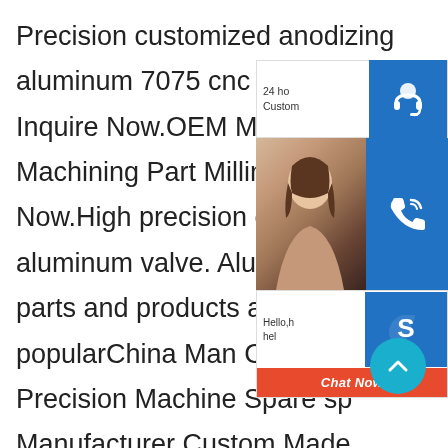Precision customized anodizing aluminum 7075 cnc machin Inquire Now.OEM Milling Machining Part Milling Part Inquire Now.High precision cu machining aluminum valve. Aluminum allo parts and products are popularChina Man Custom Made Precision Machine Spare sp Manufacturer Custom Made Precision Mac Part Cnc Machine Milling Parts Aluminum Cnc ,Find Complete Details about China M Custom Made Precision Machine Spare Part Cnc Machine Milling Parts Aluminum Machining Cnc,Aluminum Machining Cnc,Machine Spare Machine Milling Parts from Machining Supplier or ManufacturerRelated searches for cnc milling
[Figure (screenshot): 24-hour customer support widget overlay with headset icon on blue background]
[Figure (photo): Photo of a smiling woman with phone icon on blue background to the right]
[Figure (screenshot): Skype chat widget with 'Hello, how can I help you?' text, Skype icon on blue background, and orange Chat Now button]
[Figure (other): Teal scroll-to-top circular button with upward chevron arrow]